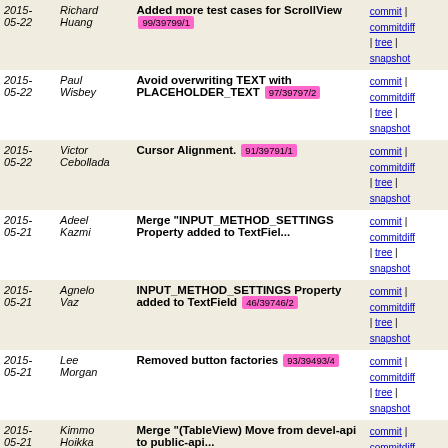| Date | Author | Message | Links |
| --- | --- | --- | --- |
| 2015-05-22 | Richard Huang | Added more test cases for ScrollView 99/39799/1 | commit | commitdiff | tree | snapshot |
| 2015-05-22 | Paul Wisbey | Avoid overwriting TEXT with PLACEHOLDER_TEXT 97/39797/2 | commit | commitdiff | tree | snapshot |
| 2015-05-22 | Victor Cebollada | Cursor Alignment. 91/39791/1 | commit | commitdiff | tree | snapshot |
| 2015-05-21 | Adeel Kazmi | Merge "INPUT_METHOD_SETTINGS Property added to TextFiel... | commit | commitdiff | tree | snapshot |
| 2015-05-21 | Agnelo Vaz | INPUT_METHOD_SETTINGS Property added to TextField 46/39746/2 | commit | commitdiff | tree | snapshot |
| 2015-05-21 | Lee Morgan | Removed button factories 93/39493/4 | commit | commitdiff | tree | snapshot |
| 2015-05-21 | Kimmo Hoikka | Merge "(TableView) Move from devel-api to public-api... | commit | commitdiff | tree | snapshot |
| 2015-05-21 | Kimmo Hoikka | Merge "(AutomatedTests) Ensure local headers are includ... | commit | commitdiff | tree | snapshot |
| 2015-05-21 | Adeel Kazmi | (TableView) Move from devel-api to public-api 39/39739/1 | commit | commitdiff | tree | snapshot |
| 2015-05-21 | Richard Huang | Added test cases for ScrollView 34/39734/3 | commit | commitdiff | tree | snapshot |
| 2015-05-... | Adeel | (AutomatedTests) Ensure local | commit | |